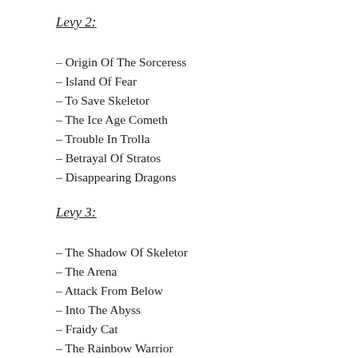Levy 2:
– Origin Of The Sorceress
– Island Of Fear
– To Save Skeletor
– The Ice Age Cometh
– Trouble In Trolla
– Betrayal Of Stratos
– Disappearing Dragons
Levy 3:
– The Shadow Of Skeletor
– The Arena
– Attack From Below
– Into The Abyss
– Fraidy Cat
– The Rainbow Warrior
– A Trip To Morainia